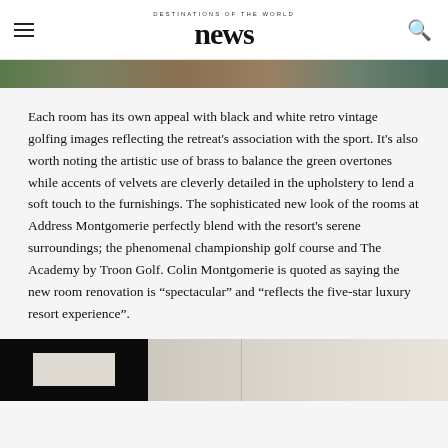DESTINATIONS OF THE WORLD news
[Figure (photo): Top portion of an outdoor photo, showing green and brown tones suggesting a golf course or landscape.]
Each room has its own appeal with black and white retro vintage golfing images reflecting the retreat’s association with the sport. It’s also worth noting the artistic use of brass to balance the green overtones while accents of velvets are cleverly detailed in the upholstery to lend a soft touch to the furnishings. The sophisticated new look of the rooms at Address Montgomerie perfectly blend with the resort’s serene surroundings; the phenomenal championship golf course and The Academy by Troon Golf. Colin Montgomerie is quoted as saying the new room renovation is “spectacular” and “reflects the five-star luxury resort experience”.
[Figure (photo): Bottom portion showing a dark left panel and a light beige/cream right panel with what appears to be an interior room or decorative object.]